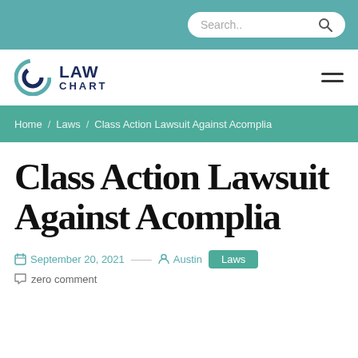Search..
[Figure (logo): Law Chart logo with circular arrow icon in teal/navy and text LAW CHART]
Home / Laws / Class Action Lawsuit Against Acomplia
Class Action Lawsuit Against Acomplia
September 20, 2021 — Austin  Laws
zero comment